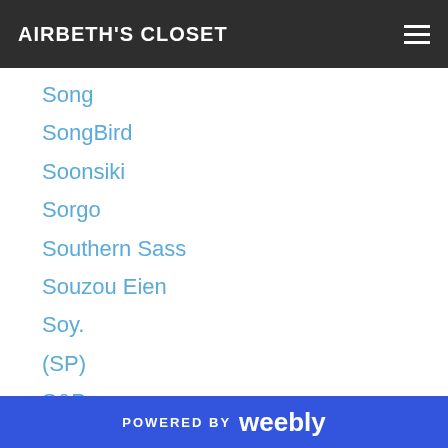AIRBETH'S CLOSET
Song
SongBird
Soonsiki
Sorgo
Southern Sass
Souzou Eien
Soy.
(SP)
S&P
Speakeasy
Spellbound
Spirit
.:SP:. Piaggio
Spyrelle
.:SS:.
POWERED BY weebly